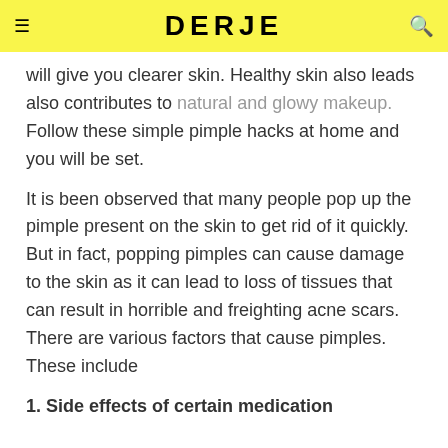DERJE
will give you clearer skin. Healthy skin also leads also contributes to natural and glowy makeup. Follow these simple pimple hacks at home and you will be set.
It is been observed that many people pop up the pimple present on the skin to get rid of it quickly. But in fact, popping pimples can cause damage to the skin as it can lead to loss of tissues that can result in horrible and freighting acne scars. There are various factors that cause pimples. These include
1. Side effects of certain medication